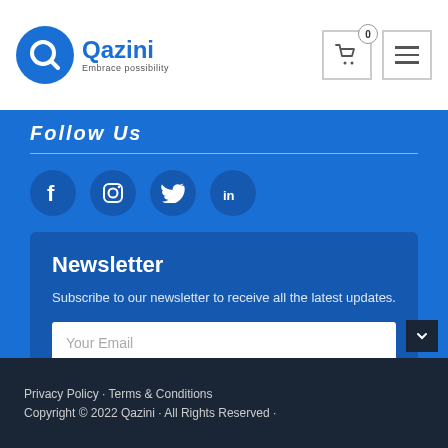Qazini · Embrace possibility
Follow Us
[Figure (infographic): Four circular social media icons: Facebook (f), Instagram, Twitter bird, LinkedIn (in)]
Newsletter
Subscribe to our newsletter to receive all the latest updates.
Your Email
LEARN MORE >>
Privacy Policy · Terms & Conditions
Copyright © 2022 Qazini · All Rights Reserved ·